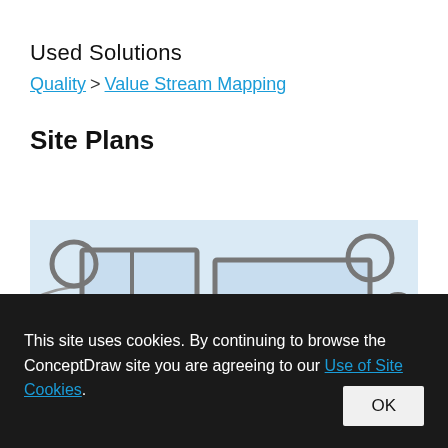Used Solutions
Quality > Value Stream Mapping
Site Plans
[Figure (illustration): A site plan diagram on a light blue background showing building footprints (gray rectangles with thick borders), circular tree/bush symbols (gray outlined circles), curved roads or paths, and a central green blob shape representing vegetation or a tree viewed from above.]
This site uses cookies. By continuing to browse the ConceptDraw site you are agreeing to our Use of Site Cookies.